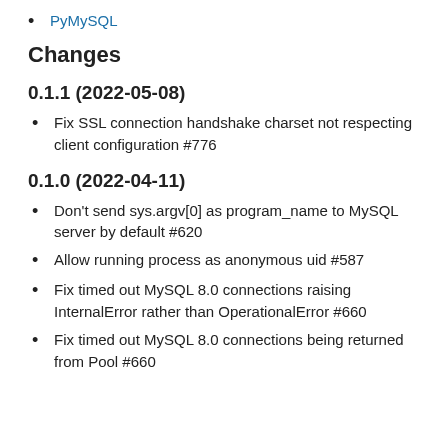PyMySQL
Changes
0.1.1 (2022-05-08)
Fix SSL connection handshake charset not respecting client configuration #776
0.1.0 (2022-04-11)
Don't send sys.argv[0] as program_name to MySQL server by default #620
Allow running process as anonymous uid #587
Fix timed out MySQL 8.0 connections raising InternalError rather than OperationalError #660
Fix timed out MySQL 8.0 connections being returned from Pool #660